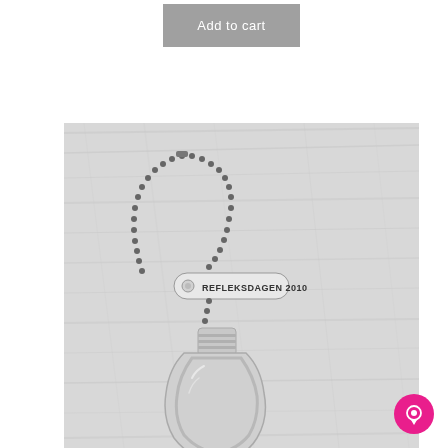Add to cart
[Figure (photo): A reflective safety keychain pendant shaped like a light bulb or mitten, silver/grey in color, with a ball chain loop and a tag reading 'REFLEKSDAGEN 2010'. The item is photographed on a light grey wooden surface in black and white photography.]